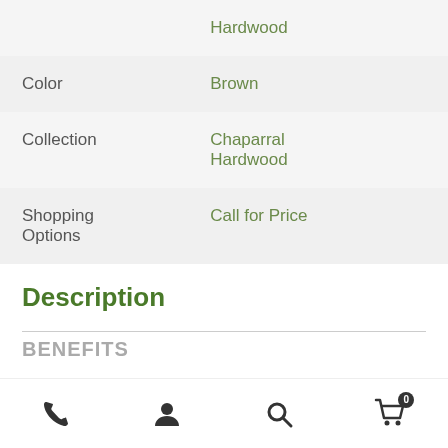|  | Hardwood |
| Color | Brown |
| Collection | Chaparral Hardwood |
| Shopping Options | Call for Price |
Description
BENEFITS